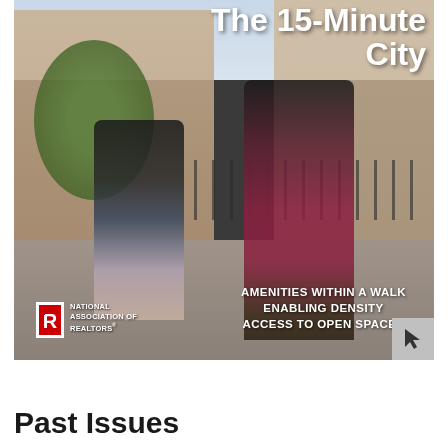[Figure (photo): Cover image of a report titled 'The 15-Minute City' showing a woman and a girl walking hand-in-hand on a city sidewalk. Text overlays include the title at top right, bullet points 'AMENITIES WITHIN A WALK', 'ENABLING DENSITY', 'ACCESS TO OPEN SPACES' at bottom right, and the National Association of Realtors logo at bottom left.]
The 15-Minute City
AMENITIES WITHIN A WALK
ENABLING DENSITY
ACCESS TO OPEN SPACES
Past Issues